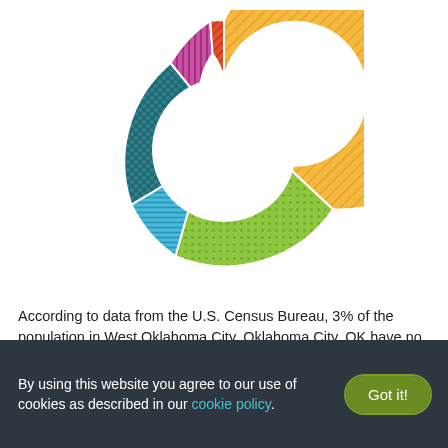[Figure (donut-chart): Education levels in West Oklahoma City, Oklahoma City, OK]
According to data from the U.S. Census Bureau, 3% of the population in West Oklahoma City, Oklahoma City, OK have no high school education, 33% went to high-school, and 29% have partially completed college. Moreover, 9% of the population hold an Associate Degree, 19% hold a Bachelor Degree, and 8% hold a Graduate Degree.
By using this website you agree to our use of cookies as described in our cookie policy.